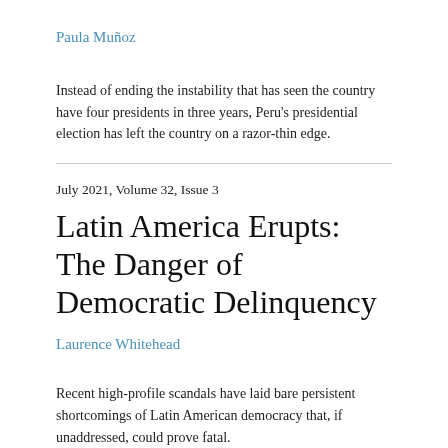Paula Muñoz
Instead of ending the instability that has seen the country have four presidents in three years, Peru's presidential election has left the country on a razor-thin edge.
July 2021, Volume 32, Issue 3
Latin America Erupts: The Danger of Democratic Delinquency
Laurence Whitehead
Recent high-profile scandals have laid bare persistent shortcomings of Latin American democracy that, if unaddressed, could prove fatal.